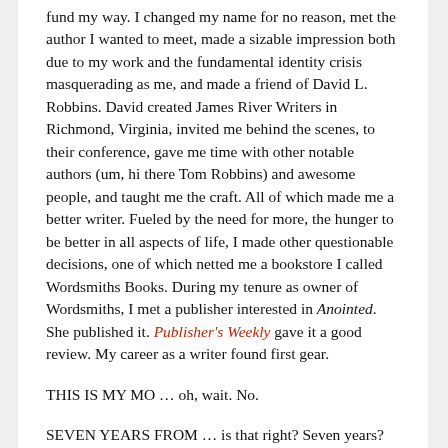fund my way. I changed my name for no reason, met the author I wanted to meet, made a sizable impression both due to my work and the fundamental identity crisis masquerading as me, and made a friend of David L. Robbins. David created James River Writers in Richmond, Virginia, invited me behind the scenes, to their conference, gave me time with other notable authors (um, hi there Tom Robbins) and awesome people, and taught me the craft. All of which made me a better writer. Fueled by the need for more, the hunger to be better in all aspects of life, I made other questionable decisions, one of which netted me a bookstore I called Wordsmiths Books. During my tenure as owner of Wordsmiths, I met a publisher interested in Anointed. She published it. Publisher's Weekly gave it a good review. My career as a writer found first gear.
THIS IS MY MO … oh, wait. No.
SEVEN YEARS FROM … is that right? Seven years?